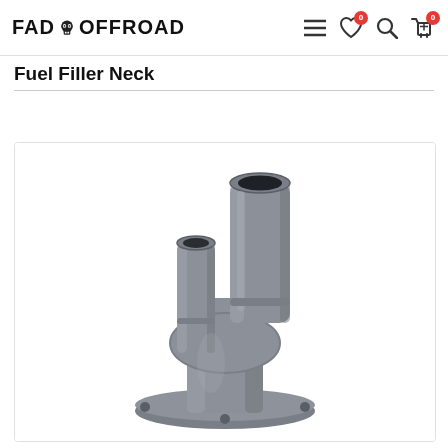FAD OFFROAD — Navigation bar with hamburger menu, heart icon (0), search icon, cart icon (0)
Fuel Filler Neck
[Figure (photo): Close-up photo of a gray metal fuel filler neck component with two outlet tubes of different sizes rising from a flanged base, photographed on a white background.]